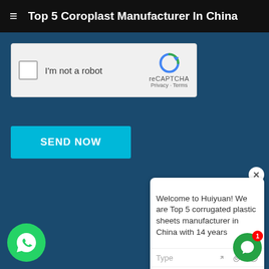Top 5 Coroplast Manufacturer In China
[Figure (screenshot): reCAPTCHA widget with checkbox labeled I'm not a robot and reCAPTCHA logo with Privacy and Terms links]
SEND NOW
[Figure (screenshot): Chat popup with close button showing message: Welcome to Huiyuan! We are Top 5 corrugated plastic sheets manufacturer in China with 14 years, with a Type input bar and emoji/attachment icons]
[Figure (other): WhatsApp icon - green circle with white phone handset]
[Figure (other): Green chat bubble icon with notification badge showing 1]